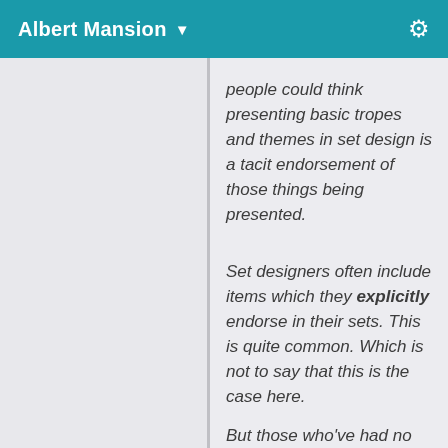Albert Mansion ▼
people could think presenting basic tropes and themes in set design is a tacit endorsement of those things being presented.
Set designers often include items which they explicitly endorse in their sets. This is quite common. Which is not to say that this is the case here.
But those who've had no supernatural experiences